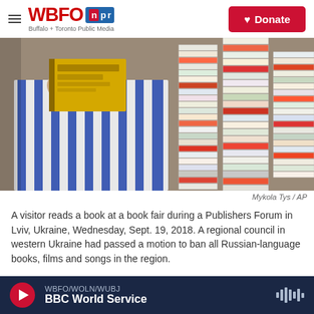WBFO npr — Buffalo + Toronto Public Media | Donate
[Figure (photo): A person in a blue-and-white striped shirt reading a yellow book at a book fair, with tall stacks of books in the background.]
Mykola Tys / AP
A visitor reads a book at a book fair during a Publishers Forum in Lviv, Ukraine, Wednesday, Sept. 19, 2018. A regional council in western Ukraine had passed a motion to ban all Russian-language books, films and songs in the region.
WBFO/WOLN/WUBJ — BBC World Service